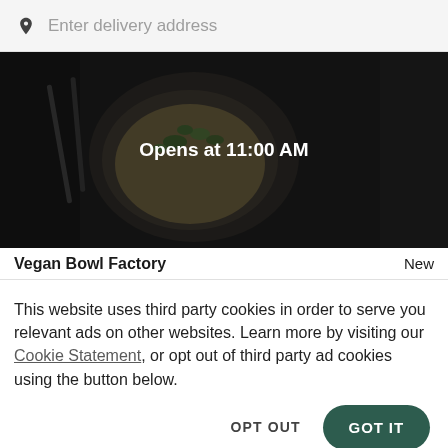Enter delivery address
[Figure (photo): Top-down view of a dark bowl of food with green garnish, surrounded by cutlery and other food items on a dark surface. Overlaid text reads 'Opens at 11:00 AM'.]
Vegan Bowl Factory   New
This website uses third party cookies in order to serve you relevant ads on other websites. Learn more by visiting our Cookie Statement, or opt out of third party ad cookies using the button below.
OPT OUT
GOT IT